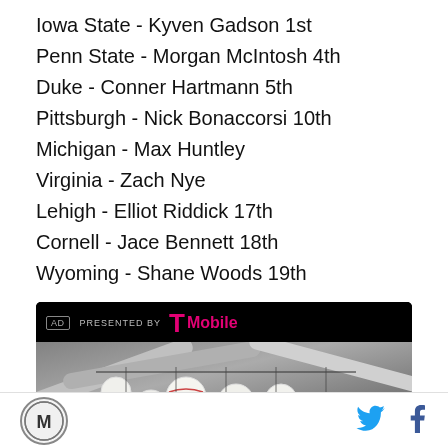Iowa State - Kyven Gadson 1st
Penn State - Morgan McIntosh 4th
Duke - Conner Hartmann 5th
Pittsburgh - Nick Bonaccorsi 10th
Michigan - Max Huntley
Virginia - Zach Nye
Lehigh - Elliot Riddick 17th
Cornell - Jace Bennett 18th
Wyoming - Shane Woods 19th
[Figure (other): T-Mobile advertisement banner with baseballs photo background]
[Figure (logo): MMA or sports site logo circle with M letter]
[Figure (other): Twitter bird icon]
[Figure (other): Facebook f icon]